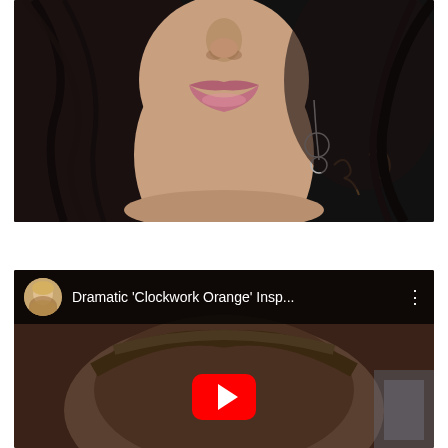[Figure (photo): Close-up photo of a woman's face from nose to chest, dark hair, pink glossy lips, dangling earring, signature tattoo on chest, dark background]
[Figure (screenshot): YouTube video thumbnail showing a video titled "Dramatic 'Clockwork Orange' Insp..." with a female presenter avatar in top-left corner, three-dot menu icon, and a YouTube play button overlay on a video showing a person's head from behind]